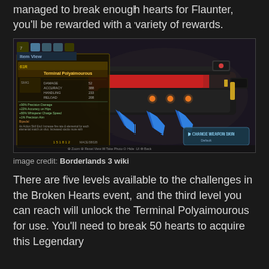managed to break enough hearts for Flaunter, you'll be rewarded with a variety of rewards.
[Figure (screenshot): Screenshot from Borderlands 3 showing the Item View screen of the Terminal Polyaimourous legendary weapon — a red, black and blue sci-fi gun with gold accents displayed against a dark background. UI elements include item stats panel on the left and a 'Change Weapon Skin' button on the right. Bottom bar shows: Zoom, Reset View, Take Photo, Hide UI, Back controls.]
image credit: Borderlands 3 wiki
There are five levels available to the challenges in the Broken Hearts event, and the third level you can reach will unlock the Terminal Polyaimourous for use. You'll need to break 50 hearts to acquire this Legendary